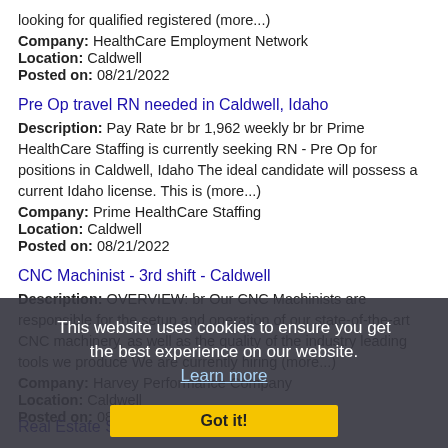looking for qualified registered (more...)
Company: HealthCare Employment Network
Location: Caldwell
Posted on: 08/21/2022
Pre Op travel RN needed in Caldwell, Idaho
Description: Pay Rate br br 1,962 weekly br br Prime HealthCare Staffing is currently seeking RN - Pre Op for positions in Caldwell, Idaho The ideal candidate will possess a current Idaho license. This is (more...)
Company: Prime HealthCare Staffing
Location: Caldwell
Posted on: 08/21/2022
CNC Machinist - 3rd shift - Caldwell
Description: OVERVIEW: br Our CNC Machinists are responsible for the setup and operation of our state-of-the-art CNC machinery, as well as the quality of the industry leading tools we produce We are currently hiring (more...)
Company: Harvey Performance Company
Location: Caldwell
Posted on: 08/21/2022
Real Estate Sales Agent
[Figure (screenshot): Cookie consent overlay on a dark semi-transparent background with text: 'This website uses cookies to ensure you get the best experience on our website. Learn more' and a yellow 'Got it!' button.]